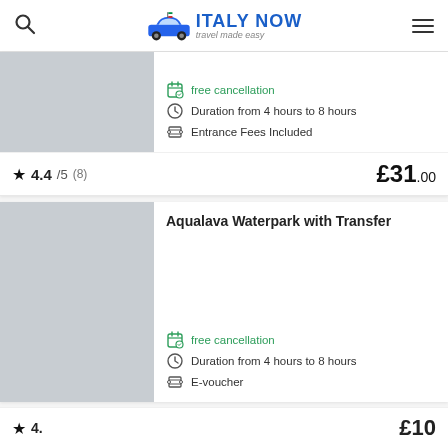Italy Now — travel made easy
free cancellation · Duration from 4 hours to 8 hours · Entrance Fees Included
4.4/5 (8) £31.00
Aqualava Waterpark with Transfer
free cancellation · Duration from 4 hours to 8 hours · E-voucher
£10